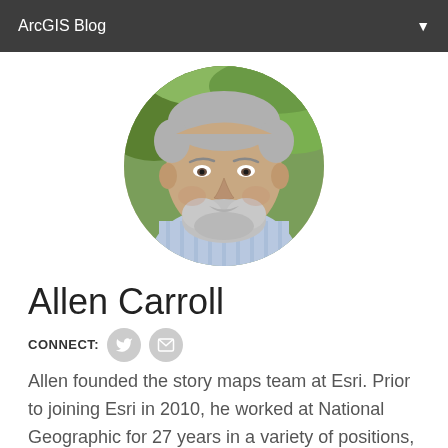ArcGIS Blog
[Figure (photo): Circular profile photo of Allen Carroll, a middle-aged man with grey beard and hair, smiling, wearing a blue striped shirt, with green foliage background]
Allen Carroll
CONNECT:
Allen founded the story maps team at Esri. Prior to joining Esri in 2010, he worked at National Geographic for 27 years in a variety of positions, including art director of National Geographic Magazine and chief cartographer at National Geographic